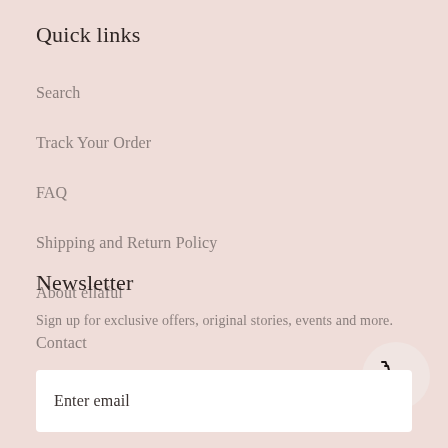Quick links
Search
Track Your Order
FAQ
Shipping and Return Policy
About ellaful
Contact
Newsletter
Sign up for exclusive offers, original stories, events and more.
Enter email